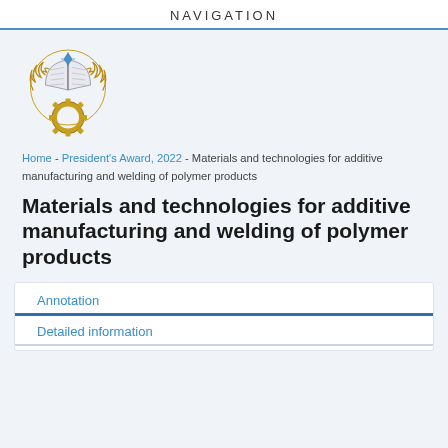NAVIGATION
[Figure (logo): Institutional emblem/crest with open book, gear, and laurel wreath in gold and blue]
Home - President's Award, 2022 - Materials and technologies for additive manufacturing and welding of polymer products
Materials and technologies for additive manufacturing and welding of polymer products
Annotation
Detailed information